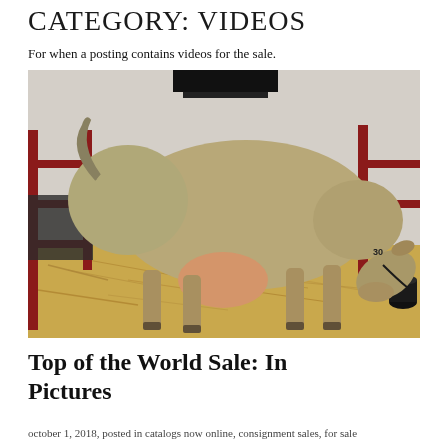CATEGORY: VIDEOS
For when a posting contains videos for the sale.
[Figure (photo): A Jersey cow with head lowered eating hay in a barn stall with red metal fencing visible on the left side. The cow is a tan/fawn color with a large udder visible. The number 30 is visible on the cow. Hay is scattered on the floor.]
Top of the World Sale: In Pictures
october 1, 2018, posted in catalogs now online, consignment sales, for sale